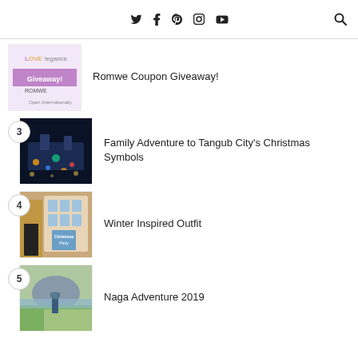Twitter, Facebook, Pinterest, Instagram, YouTube, Search
[Figure (screenshot): Thumbnail image for Romwe Coupon Giveaway post - LOVElegance Giveaway with ROMWE branding]
Romwe Coupon Giveaway!
[Figure (photo): Night scene with colorful illuminated Christmas decorations in Tangub City]
Family Adventure to Tangub City's Christmas Symbols
[Figure (photo): Winter outfit photo with Christmas Party backdrop]
Winter Inspired Outfit
[Figure (photo): Person standing in a flower field with a mountain in the background in Naga]
Naga Adventure 2019